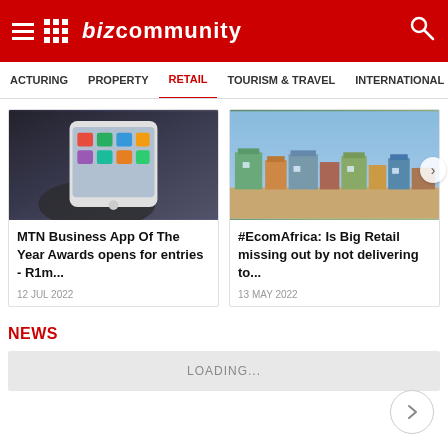BizCommunity
ACTURING  PROPERTY  RETAIL  TOURISM & TRAVEL  INTERNATIONAL
[Figure (photo): Hand holding a smartphone with apps visible on screen]
MTN Business App Of The Year Awards opens for entries - R1m...
12 JUL 2022
[Figure (photo): Township settlement with colorful corrugated iron shacks]
#EcomAfrica: Is Big Retail missing out by not delivering to...
13 MAY 2022
NEWS
LOADING...